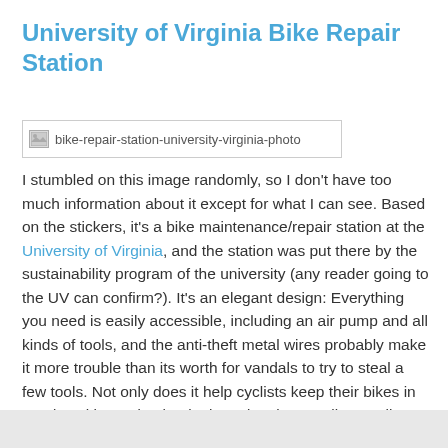University of Virginia Bike Repair Station
[Figure (photo): Broken image placeholder labeled 'bike-repair-station-university-virginia-photo']
I stumbled on this image randomly, so I don't have too much information about it except for what I can see. Based on the stickers, it's a bike maintenance/repair station at the University of Virginia, and the station was put there by the sustainability program of the university (any reader going to the UV can confirm?). It's an elegant design: Everything you need is easily accessible, including an air pump and all kinds of tools, and the anti-theft metal wires probably make it more trouble than its worth for vandals to try to steal a few tools. Not only does it help cyclists keep their bikes in good working order, but it also advertises cycling to all students who see it. Great idea, I'd love to see more of those everywhere. Check out Sustainability UVA.